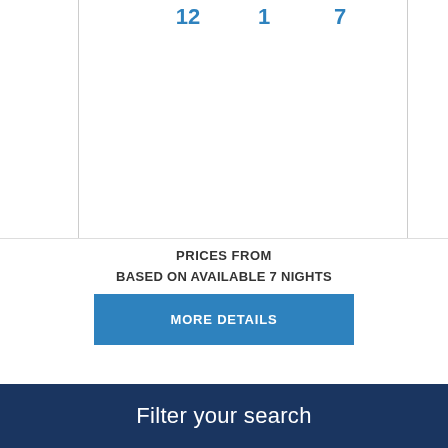[Figure (other): Calendar grid showing day numbers 12, 1, 7 in blue at the top, with vertical border lines on left and right sides of the calendar columns]
PRICES FROM
BASED ON AVAILABLE 7 NIGHTS
MORE DETAILS
Filter your search